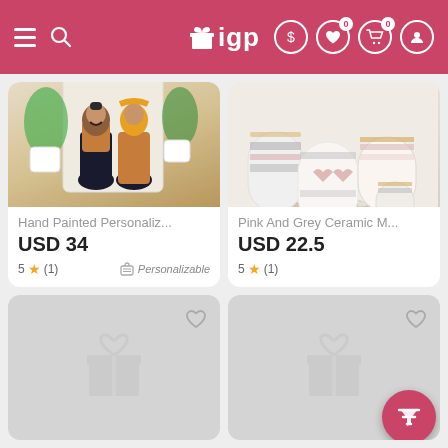IGP mobile app header with hamburger menu, search, logo, dollar icon, wishlist (0), cart (0), and profile icons
[Figure (screenshot): Hand painted personalized wooden figurines of a couple, displayed against a beige background with plants]
Hand Painted Personaliz...
USD 34
5 ★ (1)   Personalizable
[Figure (screenshot): Pink and grey ceramic mugs and cups arranged on a table]
Pink And Grey Ceramic M...
USD 22.5
5 ★ (1)
[Figure (screenshot): Loading placeholder card with gift icon]
[Figure (screenshot): Loading placeholder card with gift icon]